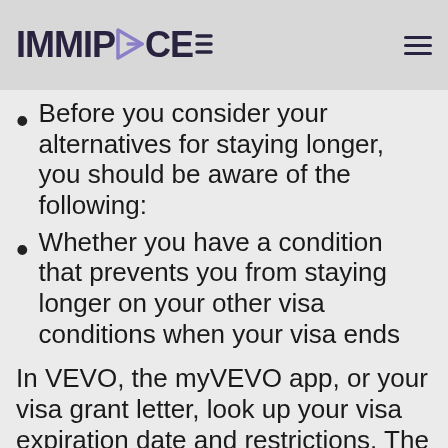IMMIPLACE
Before you consider your alternatives for staying longer, you should be aware of the following:
Whether you have a condition that prevents you from staying longer on your other visa conditions when your visa ends
In VEVO, the myVEVO app, or your visa grant letter, look up your visa expiration date and restrictions. The free myVEVO app is available